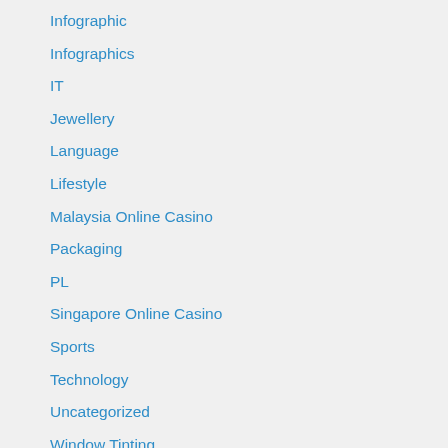Infographic
Infographics
IT
Jewellery
Language
Lifestyle
Malaysia Online Casino
Packaging
PL
Singapore Online Casino
Sports
Technology
Uncategorized
Window Tinting